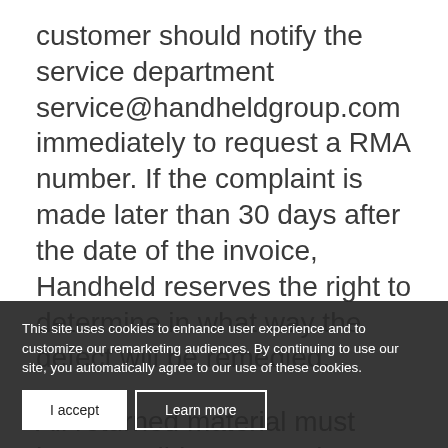customer should notify the service department service@handheldgroup.com immediately to request a RMA number. If the complaint is made later than 30 days after the date of the invoice, Handheld reserves the right to determine in what way the defect will be remedied.
All returned material must have a valid RMA number. This number is necessary to ensure proper handling. The customer must not return any items until an RMA number has been received. Note that receiving a RMA number is not
This site uses cookies to enhance user experience and to customize our remarketing audiences. By continuing to use our site, you automatically agree to our use of these cookies.